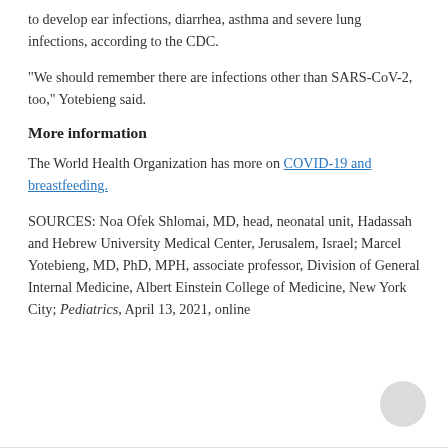to develop ear infections, diarrhea, asthma and severe lung infections, according to the CDC.
"We should remember there are infections other than SARS-CoV-2, too," Yotebieng said.
More information
The World Health Organization has more on COVID-19 and breastfeeding.
SOURCES: Noa Ofek Shlomai, MD, head, neonatal unit, Hadassah and Hebrew University Medical Center, Jerusalem, Israel; Marcel Yotebieng, MD, PhD, MPH, associate professor, Division of General Internal Medicine, Albert Einstein College of Medicine, New York City; Pediatrics, April 13, 2021, online